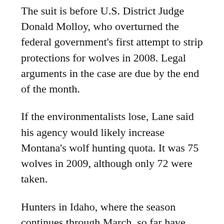The suit is before U.S. District Judge Donald Molloy, who overturned the federal government's first attempt to strip protections for wolves in 2008. Legal arguments in the case are due by the end of the month.
If the environmentalists lose, Lane said his agency would likely increase Montana's wolf hunting quota. It was 75 wolves in 2009, although only 72 were taken.
Hunters in Idaho, where the season continues through March, so far have taken 142 wolves out of a 220-animal quota.
About 300 more wolves were killed by ranchers and wildlife agents in the Northern Rockies in response to livestock attacks and by other causes.